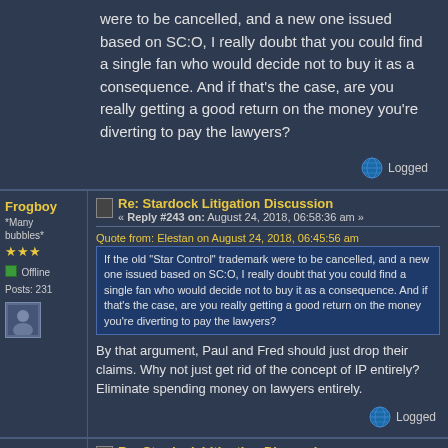were to be cancelled, and a new one issued based on SC:O, I really doubt that you could find a single fan who would decide not to buy it as a consequence. And if that's the case, are you really getting a good return on the money you're diverting to pay the lawyers?
Logged
Frogboy
*Many bubbles*
Offline
Posts: 231
Re: Stardock Litigation Discussion
« Reply #243 on: August 24, 2018, 06:58:36 am »
Quote from: Elestan on August 24, 2018, 06:45:56 am
If the old "Star Control" trademark were to be cancelled, and a new one issued based on SC:O, I really doubt that you could find a single fan who would decide not to buy it as a consequence. And if that's the case, are you really getting a good return on the money you're diverting to pay the lawyers?
By that argument, Paul and Fred should just drop their claims. Why not just get rid of the concept of IP entirely? Eliminate spending money on lawyers entirely.
Logged
Elestan
*Smell* controller
Offline
Posts: 431
Re: Stardock Litigation Discussion
« Reply #244 on: August 24, 2018, 07:11:47 am »
Quote from: Frogboy on August 24, 2018, 06:58:36 am
Quote from: Elestan on August 24, 2018, 06:45:56 am
If the old "Star Control" trademark were to be cancelled, and a new